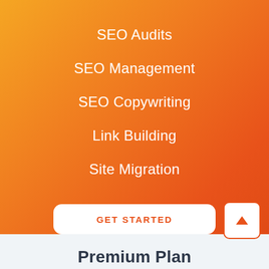SEO Audits
SEO Management
SEO Copywriting
Link Building
Site Migration
GET STARTED
Premium Plan